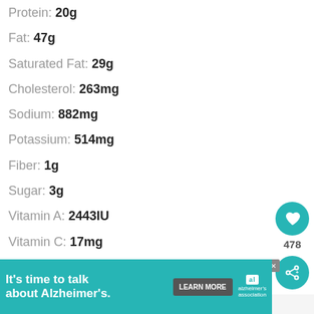Protein: 20g
Fat: 47g
Saturated Fat: 29g
Cholesterol: 263mg
Sodium: 882mg
Potassium: 514mg
Fiber: 1g
Sugar: 3g
Vitamin A: 2443IU
Vitamin C: 17mg
Calcium: 119mg
Iron: 1mg
[Figure (screenshot): Search icon and KEYWORD label]
[Figure (screenshot): Heart/like button with count 478 and share button on right side panel]
[Figure (screenshot): What's Next banner: Poached Eggs in the...]
It's time to talk about Alzheimer's.
[Figure (screenshot): Advertisement banner: It's time to talk about Alzheimer's. LEARN MORE. Alzheimer's association logo.]